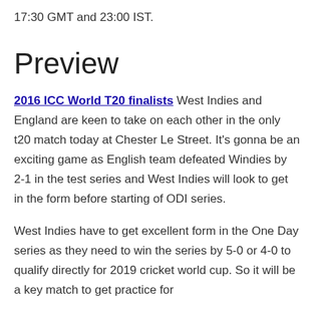17:30 GMT and 23:00 IST.
Preview
2016 ICC World T20 finalists West Indies and England are keen to take on each other in the only t20 match today at Chester Le Street. It's gonna be an exciting game as English team defeated Windies by 2-1 in the test series and West Indies will look to get in the form before starting of ODI series.
West Indies have to get excellent form in the One Day series as they need to win the series by 5-0 or 4-0 to qualify directly for 2019 cricket world cup. So it will be a key match to get practice for